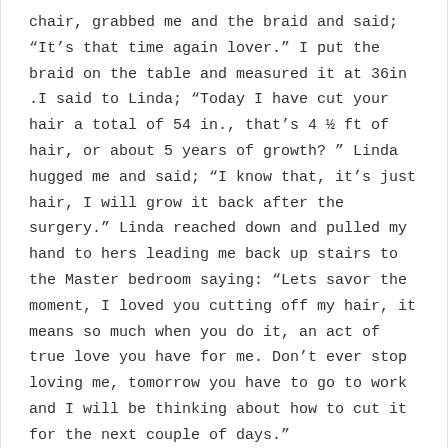chair, grabbed me and the braid and said; “It’s that time again lover.” I put the braid on the table and measured it at 36in .I said to Linda; “Today I have cut your hair a total of 54 in., that’s 4 ½ ft of hair, or about 5 years of growth? ” Linda hugged me and said; “I know that, it’s just hair, I will grow it back after the surgery.” Linda reached down and pulled my hand to hers leading me back up stairs to the Master bedroom saying: “Lets savor the moment, I loved you cutting off my hair, it means so much when you do it, an act of true love you have for me. Don’t ever stop loving me, tomorrow you have to go to work and I will be thinking about how to cut it for the next couple of days.”
I worked and came home exhausted. Linda said;